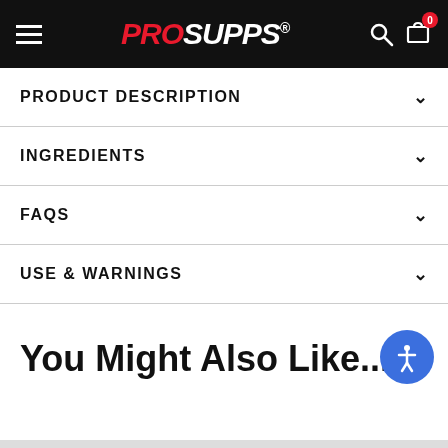ProSupps navigation header with hamburger menu, logo, search and cart icons
PRODUCT DESCRIPTION
INGREDIENTS
FAQS
USE & WARNINGS
You Might Also Like...